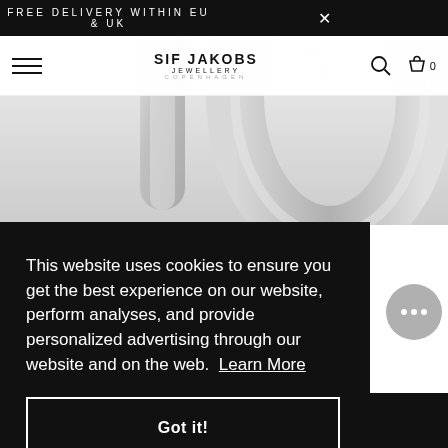[Figure (photo): Close-up photo of silver jewellery rings/hoops from Sif Jakobs Jewellery, shown on white background]
FREE DELIVERY WITHIN EU & UK
[Figure (logo): Sif Jakobs Jewellery Copenhagen logo]
This website uses cookies to ensure you get the best experience on our website, perform analyses, and provide personalized advertising through our website and on the web. Learn More
Got it!